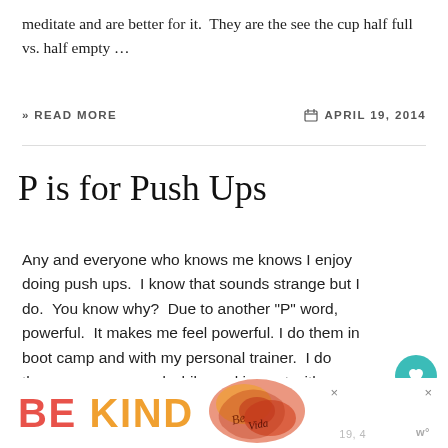meditate and are better for it.  They are the see the cup half full vs. half empty …
» READ MORE   APRIL 19, 2014
P is for Push Ups
Any and everyone who knows me knows I enjoy doing push ups.  I know that sounds strange but I do.  You know why?  Due to another "P" word, powerful.  It makes me feel powerful. I do them in boot camp and with my personal trainer.  I do them on my own and while working out with my girls.  It is my go-to exercise I started doing …
[Figure (infographic): Advertisement banner with text 'BE KIND' in orange and red letters, with decorative floral graphic element, and close/dismiss buttons. Partial date text visible.]